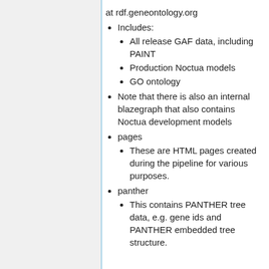at rdf.geneontology.org
Includes:
All release GAF data, including PAINT
Production Noctua models
GO ontology
Note that there is also an internal blazegraph that also contains Noctua development models
pages
These are HTML pages created during the pipeline for various purposes.
panther
This contains PANTHER tree data, e.g. gene ids and PANTHER embedded tree structure.